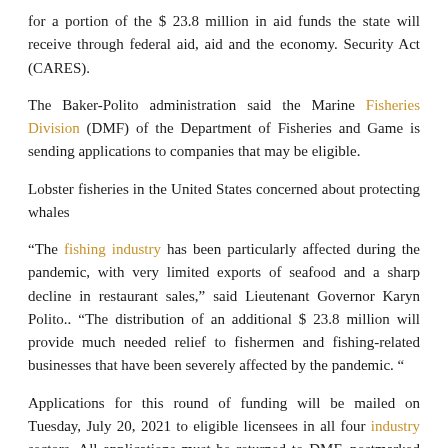for a portion of the $ 23.8 million in aid funds the state will receive through federal aid, aid and the economy. Security Act (CARES).
The Baker-Polito administration said the Marine Fisheries Division (DMF) of the Department of Fisheries and Game is sending applications to companies that may be eligible.
Lobster fisheries in the United States concerned about protecting whales
“The fishing industry has been particularly affected during the pandemic, with very limited exports of seafood and a sharp decline in restaurant sales,” said Lieutenant Governor Karyn Polito.. “The distribution of an additional $ 23.8 million will provide much needed relief to fishermen and fishing-related businesses that have been severely affected by the pandemic. “
Applications for this round of funding will be mailed on Tuesday, July 20, 2021 to eligible licensees in all four industry sectors. All applications must be returned to DMF, postmarked no later than August 28, 2021. Detailed information and updates on the program can be found here. The